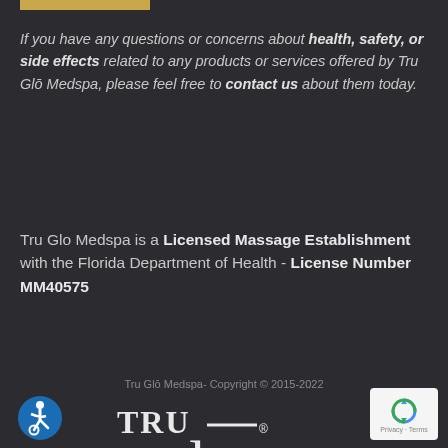[Figure (other): Gold accent bar at top left]
If you have any questions or concerns about health, safety, or side effects related to any products or services offered by Tru Glō Medspa, please feel free to contact us about them today.
Tru Glo Medspa is a Licensed Massage Establishment with the Florida Department of Health - License Number MM40575
Tru Glō Medspa- Copyright © 2015-2022
[Figure (logo): Tru Glō Medspa logo with decorative script lettering and MEDSPA text]
[Figure (other): Accessibility wheelchair icon (blue circle)]
[Figure (other): reCAPTCHA badge with Privacy and Terms text]